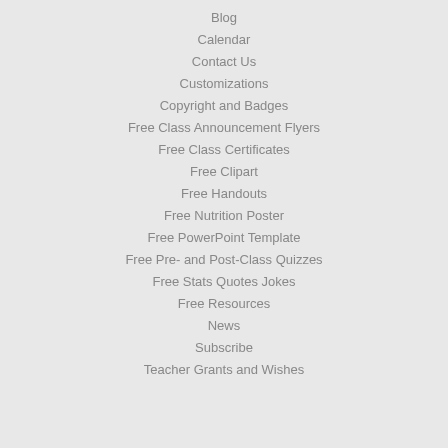Blog
Calendar
Contact Us
Customizations
Copyright and Badges
Free Class Announcement Flyers
Free Class Certificates
Free Clipart
Free Handouts
Free Nutrition Poster
Free PowerPoint Template
Free Pre- and Post-Class Quizzes
Free Stats Quotes Jokes
Free Resources
News
Subscribe
Teacher Grants and Wishes